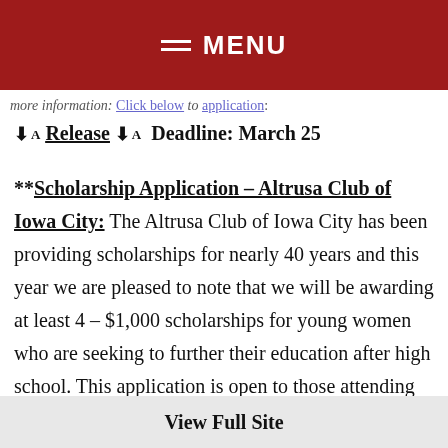MENU
more information: Click below to application:
Release  Deadline: March 25
**Scholarship Application – Altrusa Club of Iowa City: The Altrusa Club of Iowa City has been providing scholarships for nearly 40 years and this year we are pleased to note that we will be awarding at least 4 – $1,000 scholarships for young women who are seeking to further their education after high school. This application is open to those attending high school in Johnson County, Iowa and Clear Creek/Amana High
View Full Site